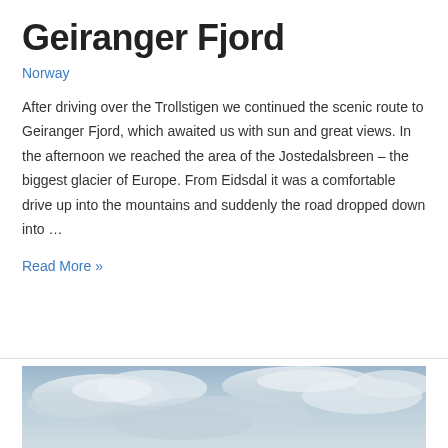Geiranger Fjord
Norway
After driving over the Trollstigen we continued the scenic route to Geiranger Fjord, which awaited us with sun and great views. In the afternoon we reached the area of the Jostedalsbreen – the biggest glacier of Europe. From Eidsdal it was a comfortable drive up into the mountains and suddenly the road dropped down into …
Read More »
[Figure (photo): Sky with clouds, blue-grey tones, partial view of a landscape photo at bottom of page]